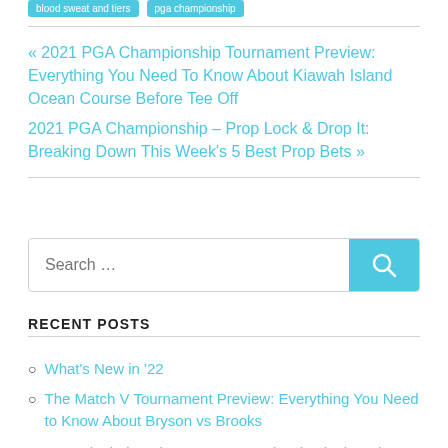blood sweat and tiers  pga championship
« 2021 PGA Championship Tournament Preview: Everything You Need To Know About Kiawah Island Ocean Course Before Tee Off
2021 PGA Championship – Prop Lock & Drop It: Breaking Down This Week's 5 Best Prop Bets »
Search …
RECENT POSTS
What's New in '22
The Match V Tournament Preview: Everything You Need to Know About Bryson vs Brooks
My Final Thoughts: 2022 PGA Classic Final Betti…